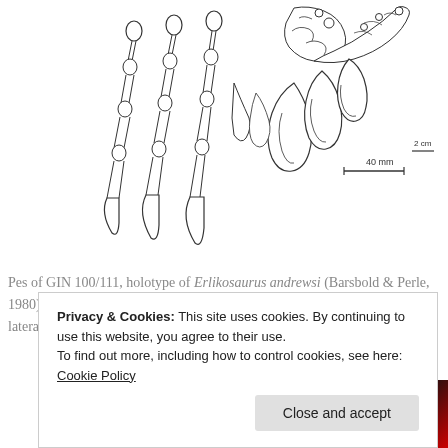[Figure (illustration): Scientific line drawing of pes (foot) of GIN 100/111, holotype of Erlikosaurus andrewsi. Left panel shows pes in flexor view after Barsbold & Perle (1980) with scale bar '40 mm'. Right panel shows pes in lateral view with digits splayed for viewing, after Perle (1981).]
Pes of GIN 100/111, holotype of Erlikosaurus andrewsi (Barsbold & Perle, 1980). Left, pes in flexor view, after Barsbold & Perle (1980); right, pes in lateral view with digits splayed for viewing, after Perle (1981).
Privacy & Cookies: This site uses cookies. By continuing to use this website, you agree to their use. To find out more, including how to control cookies, see here: Cookie Policy